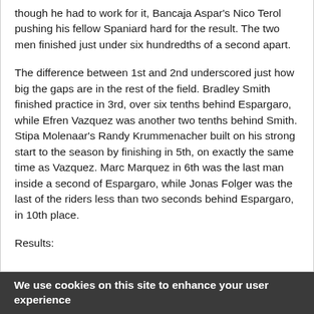though he had to work for it, Bancaja Aspar's Nico Terol pushing his fellow Spaniard hard for the result. The two men finished just under six hundredths of a second apart.
The difference between 1st and 2nd underscored just how big the gaps are in the rest of the field. Bradley Smith finished practice in 3rd, over six tenths behind Espargaro, while Efren Vazquez was another two tenths behind Smith. Stipa Molenaar's Randy Krummenacher built on his strong start to the season by finishing in 5th, on exactly the same time as Vazquez. Marc Marquez in 6th was the last man inside a second of Espargaro, while Jonas Folger was the last of the riders less than two seconds behind Espargaro, in 10th place.
Results:
We use cookies on this site to enhance your user experience